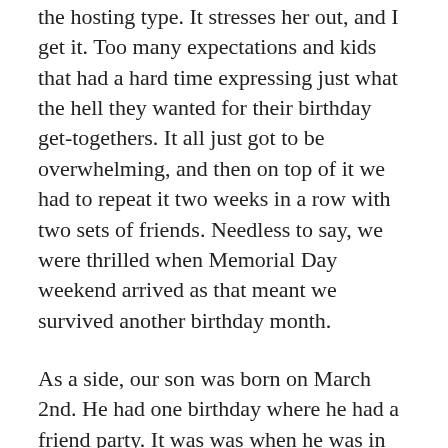the hosting type. It stresses her out, and I get it. Too many expectations and kids that had a hard time expressing just what the hell they wanted for their birthday get-togethers. It all just got to be overwhelming, and then on top of it we had to repeat it two weeks in a row with two sets of friends. Needless to say, we were thrilled when Memorial Day weekend arrived as that meant we survived another birthday month.
As a side, our son was born on March 2nd. He had one birthday where he had a friend party. It was was when he was in the 3rd grade. One kid showed up. I think he only invited one kid. My son isn't a party person, just like his parents.
This is...